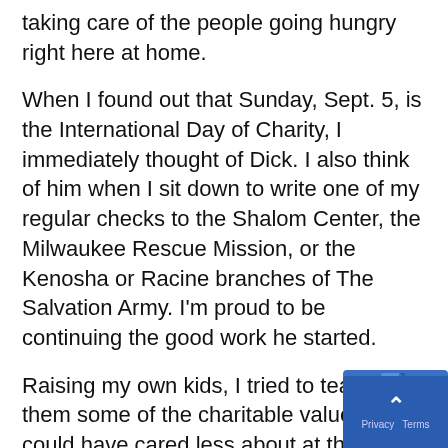taking care of the people going hungry right here at home.
When I found out that Sunday, Sept. 5, is the International Day of Charity, I immediately thought of Dick. I also think of him when I sit down to write one of my regular checks to the Shalom Center, the Milwaukee Rescue Mission, or the Kenosha or Racine branches of The Salvation Army. I'm proud to be continuing the good work he started.
Raising my own kids, I tried to teach them some of the charitable values I could have cared less about at their age. My boys were in the Cub Scouts and the Boy Scouts, and I helped them organize food drives. Together, we dropped off canned and dried food to the local food bank several times. It felt good to pitch in like that for the community, and I hope it gave them the kick in the pants they needed to help people